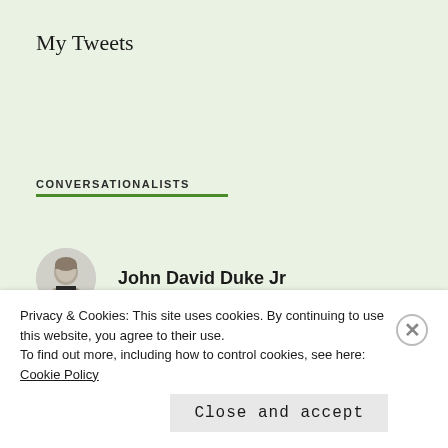My Tweets
CONVERSATIONALISTS
[Figure (photo): Circular avatar photo of John David Duke Jr, a person with short hair wearing a dark top]
John David Duke Jr
[Figure (photo): Circular avatar photo of Adam Blackstone, partially visible]
Adam Blackstone
Privacy & Cookies: This site uses cookies. By continuing to use this website, you agree to their use.
To find out more, including how to control cookies, see here: Cookie Policy
Close and accept